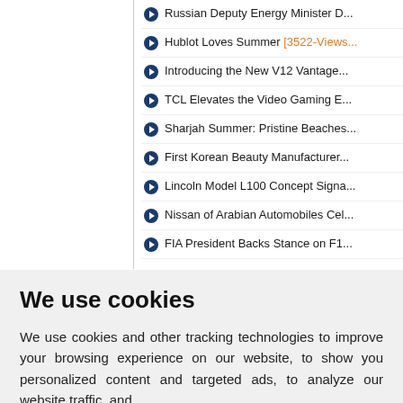Russian Deputy Energy Minister D...
Hublot Loves Summer [3522-Views...]
Introducing the New V12 Vantage...
TCL Elevates the Video Gaming E...
Sharjah Summer: Pristine Beaches...
First Korean Beauty Manufacturer...
Lincoln Model L100 Concept Signa...
Nissan of Arabian Automobiles Cel...
FIA President Backs Stance on F1...
We use cookies
We use cookies and other tracking technologies to improve your browsing experience on our website, to show you personalized content and targeted ads, to analyze our website traffic, and